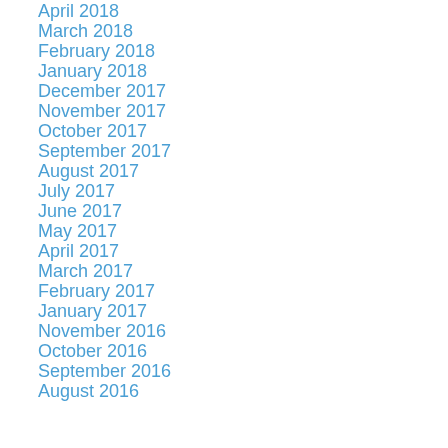April 2018
March 2018
February 2018
January 2018
December 2017
November 2017
October 2017
September 2017
August 2017
July 2017
June 2017
May 2017
April 2017
March 2017
February 2017
January 2017
November 2016
October 2016
September 2016
August 2016